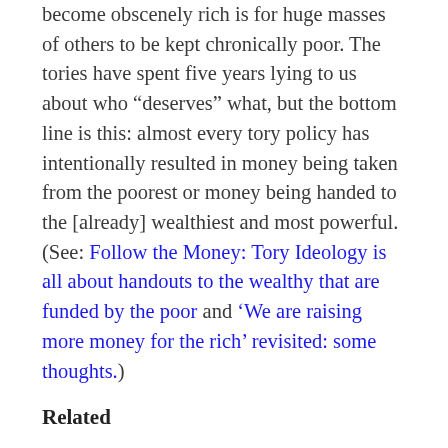become obscenely rich is for huge masses of others to be kept chronically poor. The tories have spent five years lying to us about who “deserves” what, but the bottom line is this: almost every tory policy has intentionally resulted in money being taken from the poorest or money being handed to the [already] wealthiest and most powerful. (See: Follow the Money: Tory Ideology is all about handouts to the wealthy that are funded by the poor and ‘We are raising more money for the rich’ revisited: some thoughts.)
Related